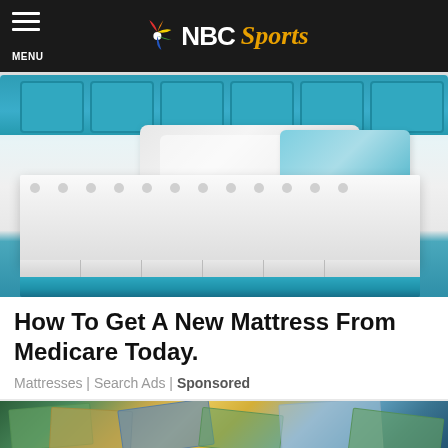MENU | NBC Sports
[Figure (photo): Photo of a white mattress on a teal/turquoise upholstered bed frame with pillows in a bedroom setting]
How To Get A New Mattress From Medicare Today.
Mattresses | Search Ads | Sponsored
[Figure (photo): Partial image of scattered US dollar bills and money]